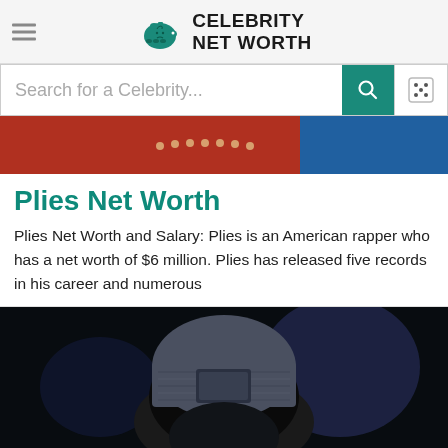CELEBRITY NET WORTH
[Figure (screenshot): Search bar with 'Search for a Celebrity...' placeholder, teal search button, and dice button]
[Figure (photo): Partial photo showing person in red clothing with beaded necklace against blue background]
Plies Net Worth
Plies Net Worth and Salary: Plies is an American rapper who has a net worth of $6 million. Plies has released five records in his career and numerous
[Figure (photo): Person wearing a grey/blue knit beanie hat with a square patch, blurred colorful background]